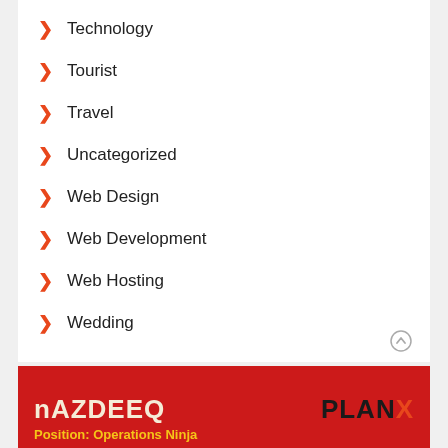Technology
Tourist
Travel
Uncategorized
Web Design
Web Development
Web Hosting
Wedding
[Figure (logo): NAZDEEQ and PLANX logos on a red banner with text 'Position: Operations Ninja']